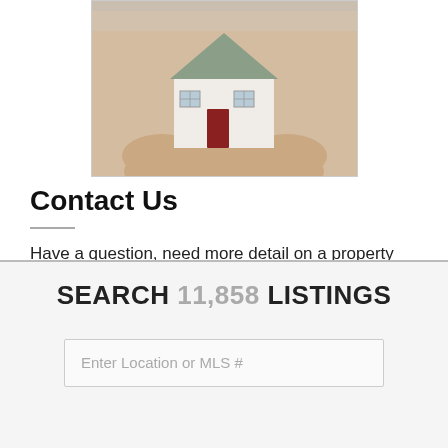[Figure (photo): Hands holding a small model house with grey roof and red door]
Contact Us
Have a question, need more detail on a property listing, or simply not able to find what you're looking for? We're here to help and we'll help you find what you need. Go to CONTACT US
SEARCH 11,858 LISTINGS
Enter Location or MLS #